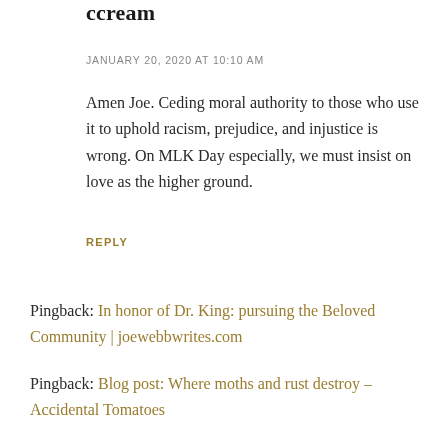ccream
JANUARY 20, 2020 AT 10:10 AM
Amen Joe. Ceding moral authority to those who use it to uphold racism, prejudice, and injustice is wrong. On MLK Day especially, we must insist on love as the higher ground.
REPLY
Pingback: In honor of Dr. King: pursuing the Beloved Community | joewebbwrites.com
Pingback: Blog post: Where moths and rust destroy – Accidental Tomatoes